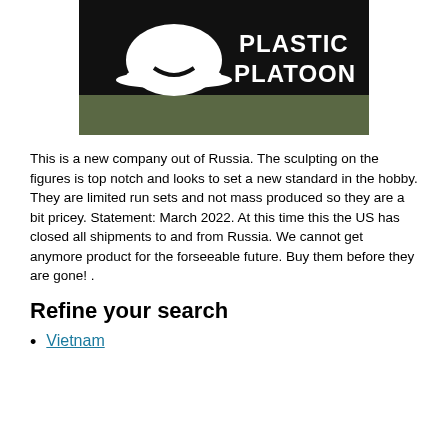[Figure (logo): Plastic Platoon logo: white hard hat icon with text 'PLASTIC PLATOON' in white on black background with dark olive/green lower portion]
This is a new company out of Russia. The sculpting on the figures is top notch and looks to set a new standard in the hobby. They are limited run sets and not mass produced so they are a bit pricey. Statement: March 2022. At this time this the US has closed all shipments to and from Russia. We cannot get anymore product for the forseeable future. Buy them before they are gone! .
Refine your search
Vietnam